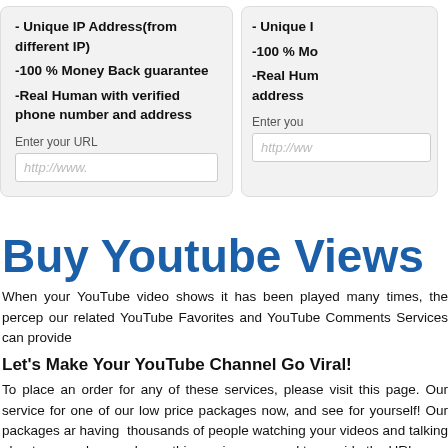- Unique IP Address(from different IP)
-100 % Money Back guarantee
-Real Human with verified phone number and address
Enter your URL
http://www.
Buy Youtube Views
When your YouTube video shows it has been played many times, the percep our related YouTube Favorites and YouTube Comments Services can provide
Let's Make Your YouTube Channel Go Viral!
To place an order for any of these services, please visit this page. Our service for one of our low price packages now, and see for yourself! Our packages ar having thousands of people watching your videos and talking about you w place order on this service,you need to provide the URL
For Example :